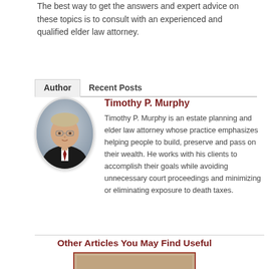The best way to get the answers and expert advice on these topics is to consult with an experienced and qualified elder law attorney.
Author | Recent Posts
Timothy P. Murphy
Timothy P. Murphy is an estate planning and elder law attorney whose practice emphasizes helping people to build, preserve and pass on their wealth. He works with his clients to accomplish their goals while avoiding unnecessary court proceedings and minimizing or eliminating exposure to death taxes.
Other Articles You May Find Useful
[Figure (photo): Thumbnail image preview for an article]